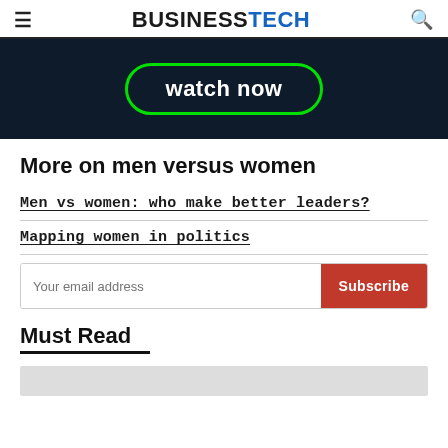BUSINESSTECH
[Figure (photo): Dark advertisement banner with green-outlined button saying 'watch now']
More on men versus women
Men vs women: who make better leaders?
Mapping women in politics
Your email address [Subscribe]
Must Read